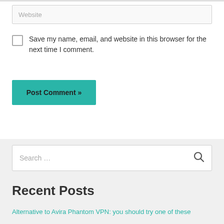Website
Save my name, email, and website in this browser for the next time I comment.
Post Comment »
Search …
Recent Posts
Alternative to Avira Phantom VPN: you should try one of these